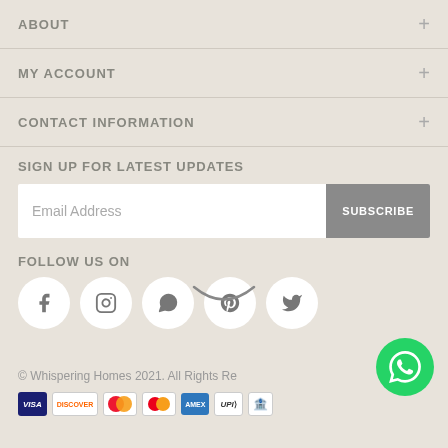ABOUT
MY ACCOUNT
CONTACT INFORMATION
SIGN UP FOR LATEST UPDATES
Email Address
SUBSCRIBE
FOLLOW US ON
[Figure (infographic): Social media icons in white circles: Facebook, Instagram, WhatsApp, Pinterest, Twitter]
© Whispering Homes 2021. All Rights Re...
[Figure (infographic): Payment method icons: VISA, Discover, Maestro, Mastercard, American Express, UPI, bank transfer]
[Figure (infographic): WhatsApp floating action button (green circle with WhatsApp logo)]